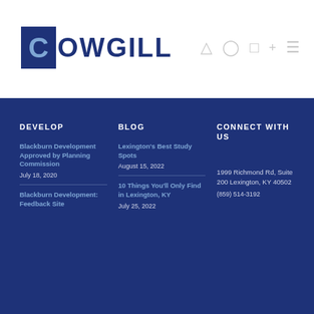[Figure (logo): Cowgill logo with dark blue square containing letter C and bold OWGILL text]
DEVELOP
Blackburn Development Approved by Planning Commission
July 18, 2020
Blackburn Development: Feedback Site
BLOG
Lexington's Best Study Spots
August 15, 2022
10 Things You'll Only Find in Lexington, KY
July 25, 2022
CONNECT WITH US
1999 Richmond Rd, Suite 200 Lexington, KY 40502
(859) 514-3192